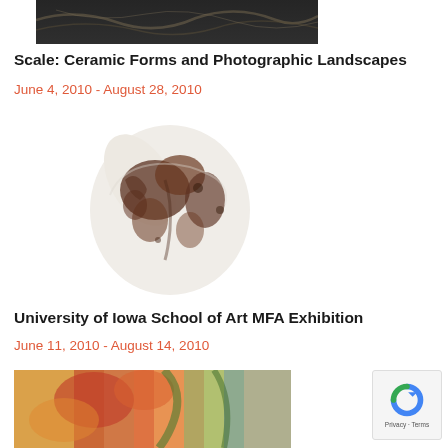[Figure (photo): Dark rocky/slate texture photograph, top portion of an exhibition image]
Scale: Ceramic Forms and Photographic Landscapes
June 4, 2010 - August 28, 2010
[Figure (photo): White ceramic sculpture of a torso/figure with brown/dark mottled surface markings against a white background]
University of Iowa School of Art MFA Exhibition
June 11, 2010 - August 14, 2010
[Figure (photo): Colorful artwork with reds, blues, and warm tones, partially visible at the bottom of the page]